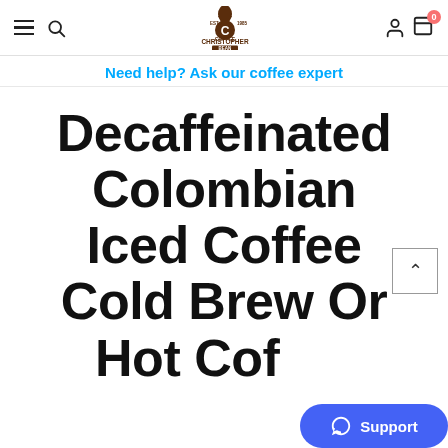Christopher Bean Coffee — navigation header with hamburger, search, logo, account and cart icons
Need help? Ask our coffee expert
Decaffeinated Colombian Iced Coffee Cold Brew Or Hot Coffee...